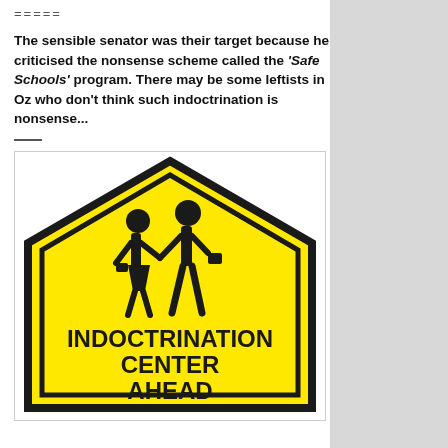=====
The sensible senator was their target because he criticised the nonsense scheme called the ‘Safe Schools’ program. There may be some leftists in Oz who don’t think such indoctrination is nonsense...
[Figure (illustration): A yellow school crossing warning sign modified to read 'INDOCTRINATION CENTER AHEAD' with two children silhouettes walking, styled like an Australian school zone sign.]